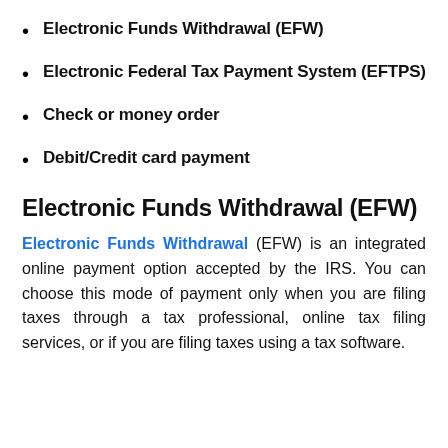Electronic Funds Withdrawal (EFW)
Electronic Federal Tax Payment System (EFTPS)
Check or money order
Debit/Credit card payment
Electronic Funds Withdrawal (EFW)
Electronic Funds Withdrawal (EFW) is an integrated online payment option accepted by the IRS. You can choose this mode of payment only when you are filing taxes through a tax professional, online tax filing services, or if you are filing taxes using a tax software.